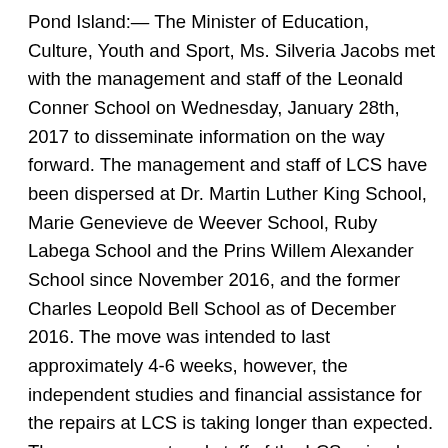Pond Island:— The Minister of Education, Culture, Youth and Sport, Ms. Silveria Jacobs met with the management and staff of the Leonald Conner School on Wednesday, January 28th, 2017 to disseminate information on the way forward. The management and staff of LCS have been dispersed at Dr. Martin Luther King School, Marie Genevieve de Weever School, Ruby Labega School and the Prins Willem Alexander School since November 2016, and the former Charles Leopold Bell School as of December 2016. The move was intended to last approximately 4-6 weeks, however, the independent studies and financial assistance for the repairs at LCS is taking longer than expected. The management and staff of the LCS voiced their opinions on the current situation as well as came up with some short term solutions to assist with the situation. Minister Jacobs sympathized with the management and staff as she understands the current struggles they are faced with and guaranteed them that things will improve. Minister Jacobs informed the management and staff that she is